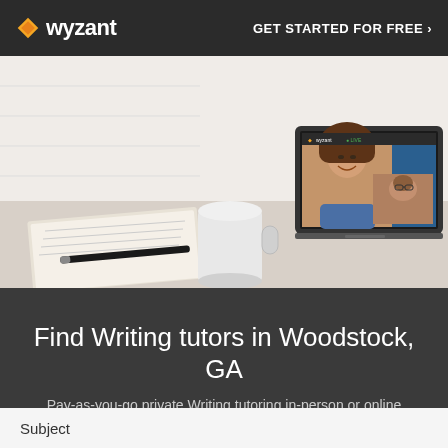wyzant  GET STARTED FOR FREE ›
[Figure (photo): Laptop showing a tutoring video call session with a smiling woman tutor. A notebook and pen are on the desk beside the laptop. White brick wall background.]
Find Writing tutors in Woodstock, GA
Pay-as-you-go private Writing tutoring in-person or online
Subject